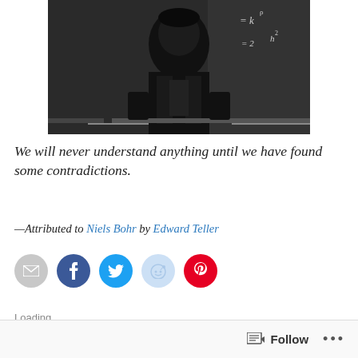[Figure (photo): Black and white photograph of a person (likely Niels Bohr) standing in front of a chalkboard with equations written on it]
We will never understand anything until we have found some contradictions.
—Attributed to Niels Bohr by Edward Teller
[Figure (infographic): Social share buttons: email (gray), Facebook (blue), Twitter (cyan), Reddit (light blue), Pinterest (red)]
Loading...
Follow ...